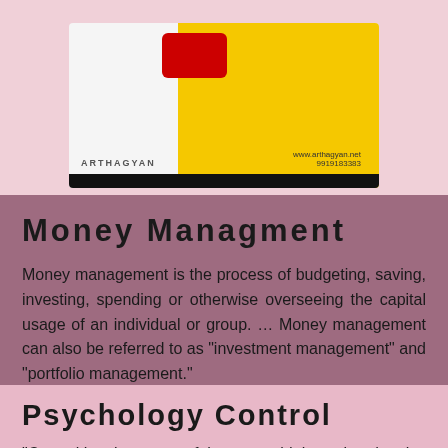[Figure (photo): A payment card (credit/debit card) with yellow background, red chip, showing text ARTHAGYAN on left and website/phone number on right, with black magnetic stripe at bottom.]
Money Managment
Money management is the process of budgeting, saving, investing, spending or otherwise overseeing the capital usage of an individual or group. … Money management can also be referred to as "investment management" and "portfolio management."
Psychology Control
"Control has been one of the most widely explored topics in the